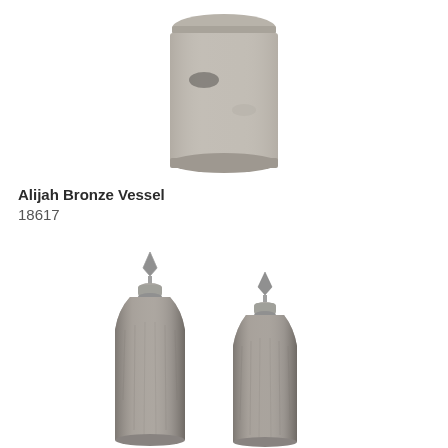[Figure (photo): Top partial view of a round grey/concrete-colored vessel or container, cropped showing just the top portion with a flat lid and rounded body.]
Alijah Bronze Vessel
18617
[Figure (photo): Two tall ceramic bottle-shaped vessels with diamond-shaped metal finials on top. Both are grey/taupe in color with a glossy crackled glaze finish. The left vessel is taller than the right one. Both have a narrow neck with a metallic silver collar and an ornate diamond-shaped topper.]